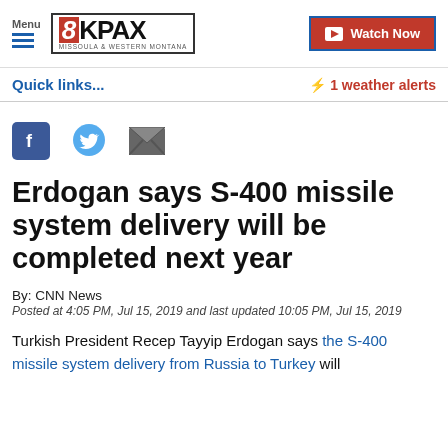Menu 8KPAX MISSOULA & WESTERN MONTANA Watch Now
Quick links...
⚡ 1 weather alerts
[Figure (other): Social share icons: Facebook, Twitter, Email]
Erdogan says S-400 missile system delivery will be completed next year
By: CNN News
Posted at 4:05 PM, Jul 15, 2019 and last updated 10:05 PM, Jul 15, 2019
Turkish President Recep Tayyip Erdogan says the S-400 missile system delivery from Russia to Turkey will